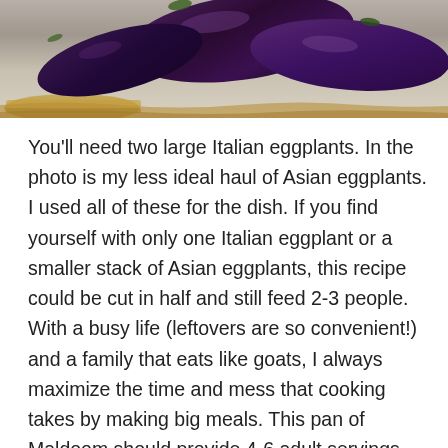[Figure (photo): Photo of eggplants (mix of Asian and Italian varieties) piled in a basket, partially cropped at top of page showing only the lower portion of the image.]
You'll need two large Italian eggplants. In the photo is my less ideal haul of Asian eggplants. I used all of these for the dish. If you find yourself with only one Italian eggplant or a smaller stack of Asian eggplants, this recipe could be cut in half and still feed 2-3 people. With a busy life (leftovers are so convenient!) and a family that eats like goats, I always maximize the time and mess that cooking takes by making big meals. This pan of Maldoom should provide 4-6 adult servings with sides.